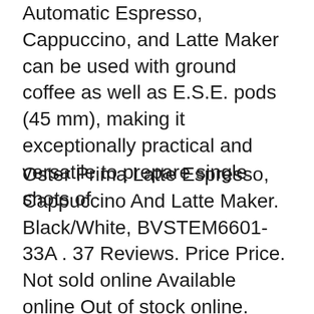Automatic Espresso, Cappuccino, and Latte Maker can be used with ground coffee as well as E.S.E. pods (45 mm), making it exceptionally practical and versatile to prepare single shots of
Oster Prima Latte Espresso, Cappuccino And Latte Maker. Black/White, BVSTEM6601-33A . 37 Reviews. Price Price. Not sold online Available online Out of stock online. Available in stores . Add to list . Add to registry 2 in 1 Espresso Machine with Milk Frother, Cappuccino Maker, Latte Maker, 15 Bar Espresso Coffee Maker, 51-Ounce, Silver. 1 Review. Price Price. Not sold online Available online 30/08/2012B B· Oster Prima Latte #75 See Frank For